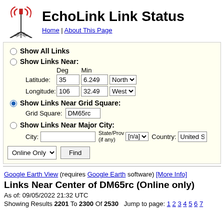EchoLink Link Status
Home | About This Page
Show All Links
Show Links Near: Deg Min Latitude: 35 6.249 North Longitude: 106 32.49 West
Show Links Near Grid Square: Grid Square: DM65rc
Show Links Near Major City: City: State/Prov (if any) [n/a] Country: United S
Online Only | Find
Google Earth View (requires Google Earth software) [More Info]
Links Near Center of DM65rc (Online only)
As of: 09/05/2022 21:32 UTC
Showing Results 2201 To 2300 Of 2530  Jump to page: 1 2 3 4 5 6 7